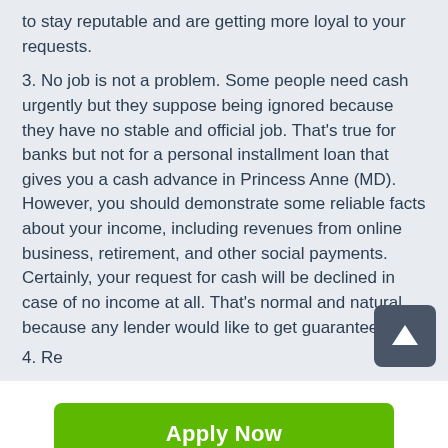to stay reputable and are getting more loyal to your requests.
3. No job is not a problem. Some people need cash urgently but they suppose being ignored because they have no stable and official job. That's true for banks but not for a personal installment loan that gives you a cash advance in Princess Anne (MD). However, you should demonstrate some reliable facts about your income, including revenues from online business, retirement, and other social payments. Certainly, your request for cash will be declined in case of no income at all. That's normal and natural because any lender would like to get guarantees of re...
4. Re...
[Figure (other): Green Apply Now button with rounded corners]
Applying does NOT affect your credit score! No credit check to apply.